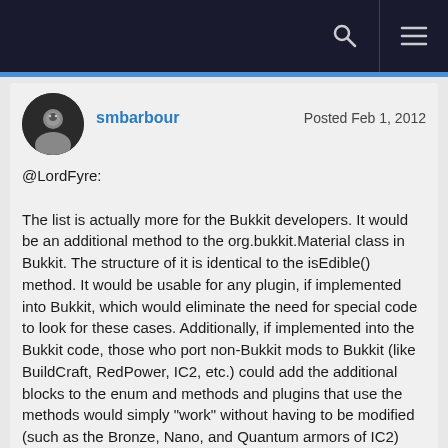smbarbour
Posted Feb 1, 2012
@LordFyre:

The list is actually more for the Bukkit developers. It would be an additional method to the org.bukkit.Material class in Bukkit. The structure of it is identical to the isEdible() method. It would be usable for any plugin, if implemented into Bukkit, which would eliminate the need for special code to look for these cases. Additionally, if implemented into the Bukkit code, those who port non-Bukkit mods to Bukkit (like BuildCraft, RedPower, IC2, etc.) could add the additional blocks to the enum and methods and plugins that use the methods would simply "work" without having to be modified (such as the Bronze, Nano, and Quantum armors of IC2)